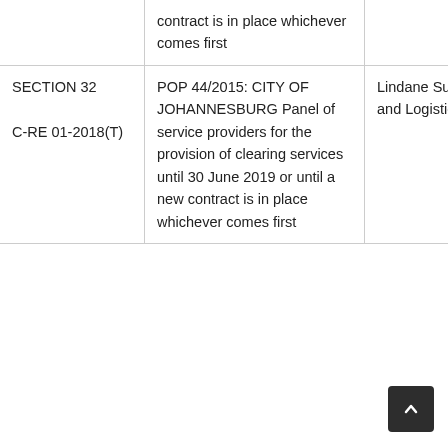|  | contract is in place whichever comes first |  |
| SECTION 32
C-RE 01-2018(T) | POP 44/2015: CITY OF JOHANNESBURG Panel of service providers for the provision of clearing services until 30 June 2019 or until a new contract is in place whichever comes first | Lindane Suppliers and Logistics |